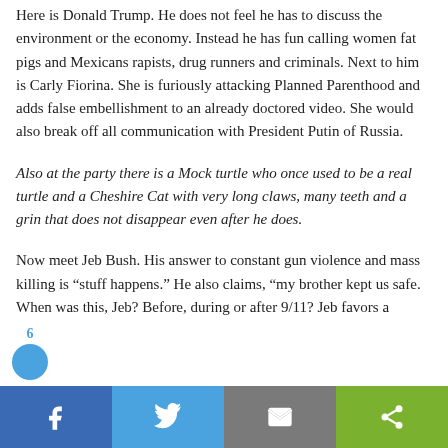Here is Donald Trump. He does not feel he has to discuss the environment or the economy. Instead he has fun calling women fat pigs and Mexicans rapists, drug runners and criminals. Next to him is Carly Fiorina. She is furiously attacking Planned Parenthood and adds false embellishment to an already doctored video. She would also break off all communication with President Putin of Russia.
Also at the party there is a Mock turtle who once used to be a real turtle and a Cheshire Cat with very long claws, many teeth and a grin that does not disappear even after he does.
Now meet Jeb Bush. His answer to constant gun violence and mass killing is “stuff happens.” He also claims, “my brother kept us safe. When was this, Jeb? Before, during or after 9/11? Jeb favors a